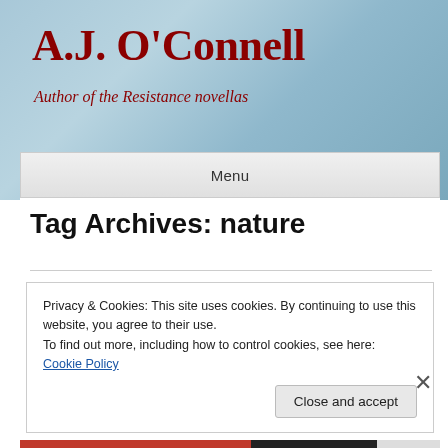A.J. O'Connell
Author of the Resistance novellas
Menu
Tag Archives: nature
Privacy & Cookies: This site uses cookies. By continuing to use this website, you agree to their use.
To find out more, including how to control cookies, see here: Cookie Policy